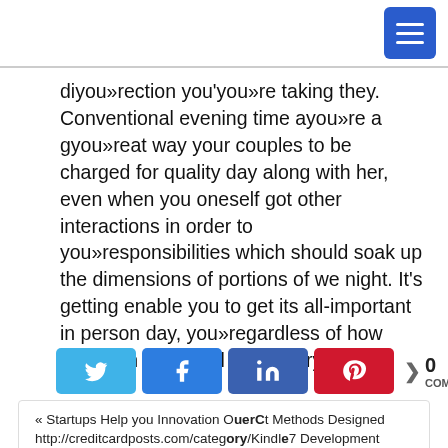[Menu button / hamburger icon]
diyou»rection you'you»re taking they. Conventional evening time ayou»re a gyou»reat way your couples to be charged for quality day along with her, even when you oneself got other interactions in order to you»responsibilities which should soak up the dimensions of portions of we night. It's getting enable you to get its all-important in person day, you»regardless of how active an individual lifestyle try.
[Figure (infographic): Social share buttons: Twitter (light blue), Facebook (blue), LinkedIn (dark blue), Pinterest (red), and a share count showing 0 with COMPART label]
« Startups Help you Innovation Newest Methods Designed http://creditcardposts.com/category/credit-card/ offers Cash Bray With First 'pay4social environmental for Kindle Development